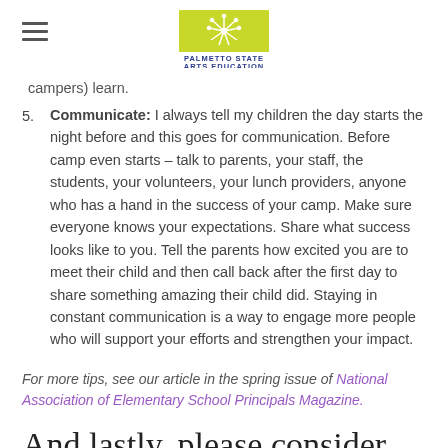Palmetto State Arts Education
campers) learn.
Communicate: I always tell my children the day starts the night before and this goes for communication. Before camp even starts – talk to parents, your staff, the students, your volunteers, your lunch providers, anyone who has a hand in the success of your camp. Make sure everyone knows your expectations. Share what success looks like to you. Tell the parents how excited you are to meet their child and then call back after the first day to share something amazing their child did. Staying in constant communication is a way to engage more people who will support your efforts and strengthen your impact.
For more tips, see our article in the spring issue of National Association of Elementary School Principals Magazine.
And lastly, please consider